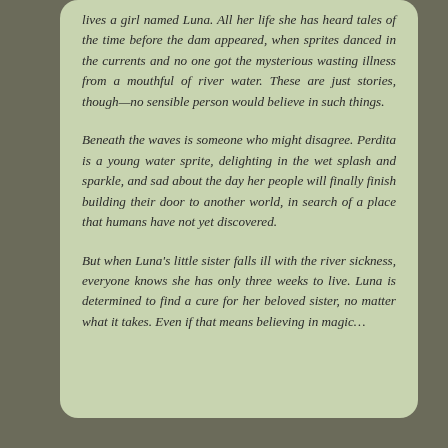lives a girl named Luna. All her life she has heard tales of the time before the dam appeared, when sprites danced in the currents and no one got the mysterious wasting illness from a mouthful of river water. These are just stories, though—no sensible person would believe in such things.
Beneath the waves is someone who might disagree. Perdita is a young water sprite, delighting in the wet splash and sparkle, and sad about the day her people will finally finish building their door to another world, in search of a place that humans have not yet discovered.
But when Luna's little sister falls ill with the river sickness, everyone knows she has only three weeks to live. Luna is determined to find a cure for her beloved sister, no matter what it takes. Even if that means believing in magic…